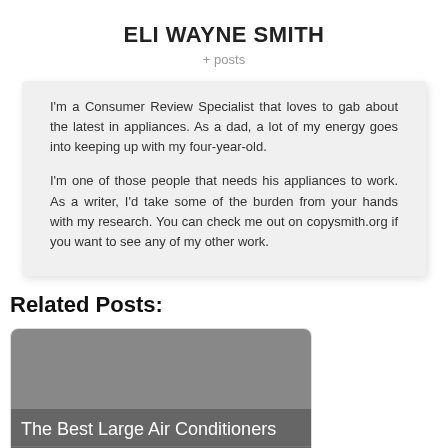ELI WAYNE SMITH
+ posts
I'm a Consumer Review Specialist that loves to gab about the latest in appliances. As a dad, a lot of my energy goes into keeping up with my four-year-old.
I'm one of those people that needs his appliances to work. As a writer, I'd take some of the burden from your hands with my research. You can check me out on copysmith.org if you want to see any of my other work.
Related Posts:
The Best Large Air Conditioners in NZ To Cool Your Entire House Effortlessly